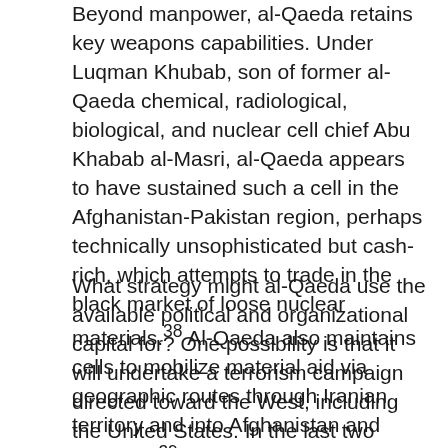Beyond manpower, al-Qaeda retains key weapons capabilities. Under Luqman Khubab, son of former al-Qaeda chemical, radiological, biological, and nuclear cell chief Abu Khabab al-Masri, al-Qaeda appears to have sustained such a cell in the Afghanistan-Pakistan region, perhaps technically unsophisticated but cash-rich, which attempts to trade in the black market of loose nuclear materials.38 Al-Qaeda also maintains cells to mobilize material aid via geographic routes through Iranian territory and into Afghanistan and Pakistan.39
What strategy might al-Qaeda use the available political and organizational capital for? One possibility is that it will undertake a terrorism campaign directed toward the West, including the United States. In the last two years, however, there is no information on major plots inspired or directed by al-Qaeda in Afghanistan in the public domain. In a recent assessment, the Defense Intelligence Agency stated that AQIS is unlikely to carry out major international...